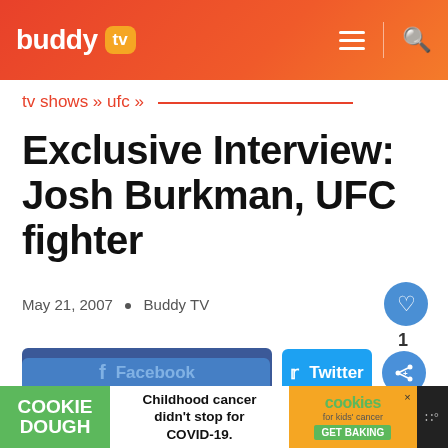buddy tv — navigation header with menu and search icons
tv shows » ufc »
Exclusive Interview: Josh Burkman, UFC fighter
May 21, 2007  •  Buddy TV
[Figure (infographic): Facebook share button (blue) and Twitter share button (light blue) with a circular share icon]
Childhood cancer didn't stop for COVID-19. COOKIE DOUGH — cookies for kids' cancer GET BAKING